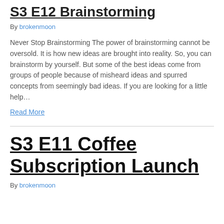S3 E12 Brainstorming
By brokenmoon
Never Stop Brainstorming The power of brainstorming cannot be oversold. It is how new ideas are brought into reality. So, you can brainstorm by yourself. But some of the best ideas come from groups of people because of misheard ideas and spurred concepts from seemingly bad ideas. If you are looking for a little help…
Read More
S3 E11 Coffee Subscription Launch
By brokenmoon